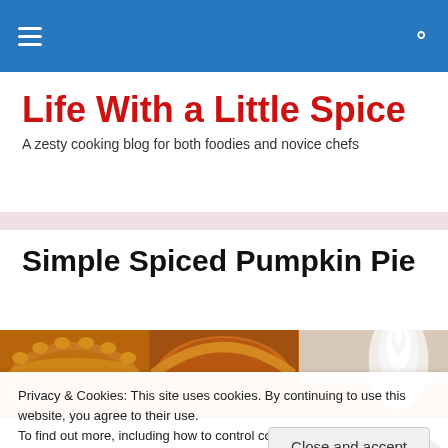Life With a Little Spice — navigation bar
Life With a Little Spice
A zesty cooking blog for both foodies and novice chefs
Simple Spiced Pumpkin Pie
[Figure (photo): Three photos of pumpkin pie: a close-up overhead shot of whole pie with crimped crust, a slice of pumpkin pie filling, and a slice with whipped cream topping]
Privacy & Cookies: This site uses cookies. By continuing to use this website, you agree to their use.
To find out more, including how to control cookies, see here: Cookie Policy
same page is easy. And free.